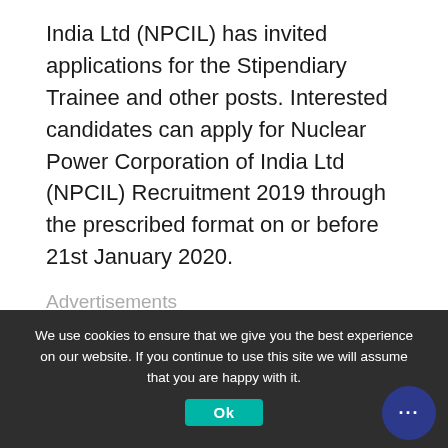India Ltd (NPCIL) has invited applications for the Stipendiary Trainee and other posts. Interested candidates can apply for Nuclear Power Corporation of India Ltd (NPCIL) Recruitment 2019 through the prescribed format on or before 21st January 2020.
Advertisements
|  | Nuclear Power |
| --- | --- |
We use cookies to ensure that we give you the best experience on our website. If you continue to use this site we will assume that you are happy with it.